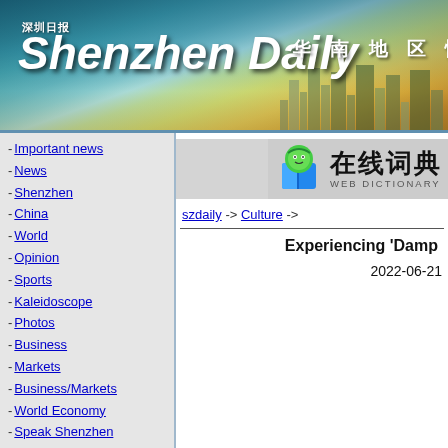[Figure (illustration): Shenzhen Daily newspaper header banner with city skyline silhouette, gradient sky background, white bold italic 'Shenzhen Daily' title, Chinese characters '深圳日报' above, and Chinese subtitle '华南地区惟一英' to the right]
深圳日报 Shenzhen Daily 华南地区惟一英
Important news
News
Shenzhen
China
World
Opinion
Sports
Kaleidoscope
Photos
Business
Markets
Business/Markets
World Economy
Speak Shenzhen
Health
Leisure
[Figure (logo): 查查 在线词典 WEB DICTIONARY logo with green cartoon character icon]
szdaily -> Culture ->
Experiencing 'Damp
2022-06-21